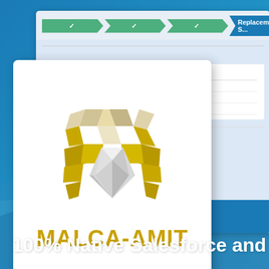[Figure (screenshot): Salesforce UI screenshot showing a progress/step bar with green checkmark steps and an active blue 'Replacement S...' step, plus a table with columns NUMBER and CREATED DATE showing rows: 1689 / 8/24/2018 10:29, 0392772... / 8/28/2018 2:07, 9090924... / 8/28/2018 2:13]
[Figure (logo): Malca-Amit logo: gold and white geometric diamond/gem shape with the text MALCA-AMIT in bold gold letters beneath it, on a white card background]
100% Native Salesforce and